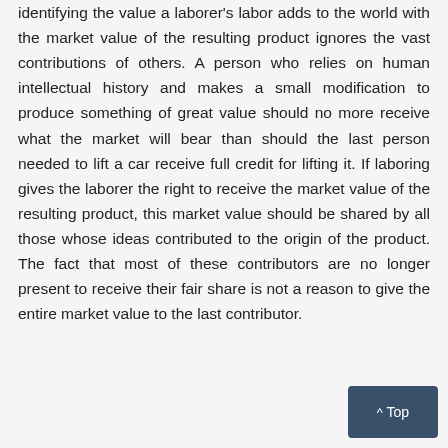identifying the value a laborer's labor adds to the world with the market value of the resulting product ignores the vast contributions of others. A person who relies on human intellectual history and makes a small modification to produce something of great value should no more receive what the market will bear than should the last person needed to lift a car receive full credit for lifting it. If laboring gives the laborer the right to receive the market value of the resulting product, this market value should be shared by all those whose ideas contributed to the origin of the product. The fact that most of these contributors are no longer present to receive their fair share is not a reason to give the entire market value to the last contributor.